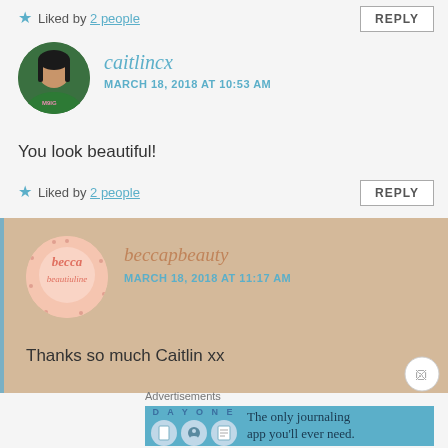★ Liked by 2 people
REPLY
[Figure (photo): Profile photo of caitlincx - woman with dark hair wearing green sweatshirt]
caitlincx
MARCH 18, 2018 AT 10:53 AM
You look beautiful!
★ Liked by 2 people
REPLY
[Figure (logo): beccapbeauty logo - circular pink logo with handwritten text]
beccapbeauty
MARCH 18, 2018 AT 11:17 AM
Thanks so much Caitlin xx
Advertisements
[Figure (screenshot): Advertisement banner for DAY ONE journaling app - blue background with app icons and text: The only journaling app you'll ever need.]